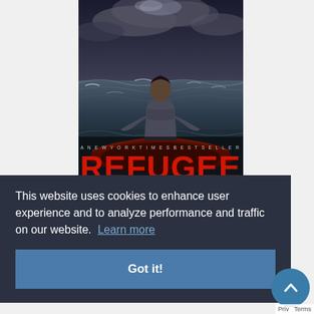[Figure (illustration): Book cover of 'Refugee' by Alan Gratz. A New York Times Bestseller. Shows a child from behind sitting at the bow of a red inflatable boat on rough, stormy ocean waters with dramatic cloudy sky. The word REFUGEE is displayed in large red block letters at the bottom of the image.]
This website uses cookies to enhance user experience and to analyze performance and traffic on our website. Learn more
Got it!